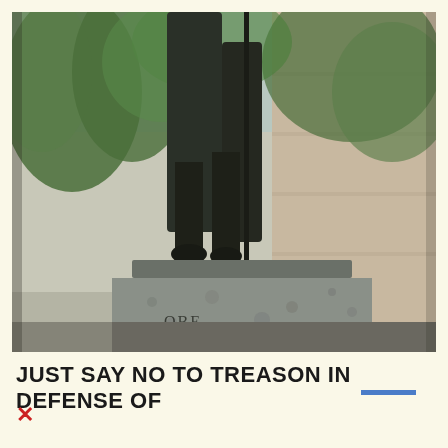[Figure (photo): A close-up photograph of the lower body and base of a bronze statue standing on a granite pedestal. The pedestal has the letters 'BE' partially visible carved into it. Trees with green foliage and a light-colored building are visible in the background.]
JUST SAY NO TO TREASON IN DEFENSE OF